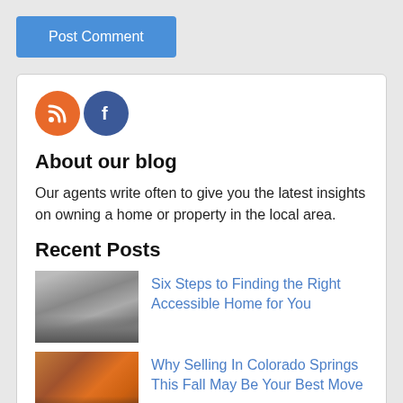Post Comment
[Figure (illustration): RSS feed orange circle icon and Facebook blue circle icon side by side]
About our blog
Our agents write often to give you the latest insights on owning a home or property in the local area.
Recent Posts
[Figure (photo): Grayscale photo of a large house with garage]
Six Steps to Finding the Right Accessible Home for You
[Figure (photo): Photo of a couple standing outdoors among autumn foliage]
Why Selling In Colorado Springs This Fall May Be Your Best Move